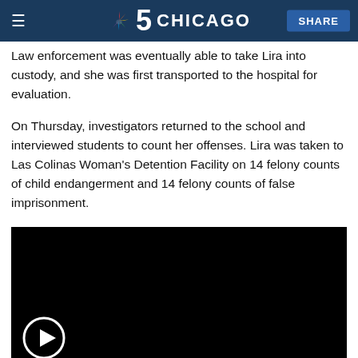NBC 5 CHICAGO | SHARE
Law enforcement was eventually able to take Lira into custody, and she was first transported to the hospital for evaluation.
On Thursday, investigators returned to the school and interviewed students to count her offenses. Lira was taken to Las Colinas Woman's Detention Facility on 14 felony counts of child endangerment and 14 felony counts of false imprisonment.
[Figure (screenshot): Embedded video player with black background and a circular play button in the lower-left corner.]